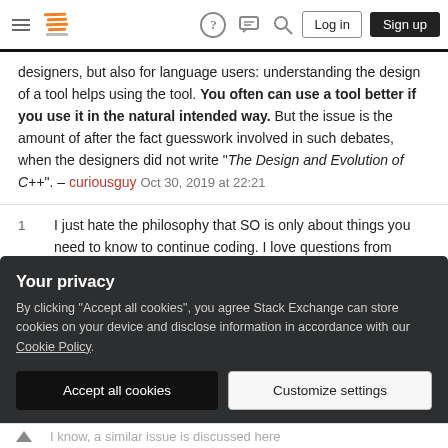Stack Overflow navigation header with hamburger menu, logo, help, chat, search icons, Log in and Sign up buttons
designers, but also for language users: understanding the design of a tool helps using the tool. You often can use a tool better if you use it in the natural intended way. But the issue is the amount of after the fact guesswork involved in such debates, when the designers did not write "The Design and Evolution of C++". – curiousguy Oct 30, 2019 at 22:21
1  I just hate the philosophy that SO is only about things you need to know to continue coding. I love questions from people who don't just want to get past the current bug, but want to understand the technology more deeply so they can become better programmers. Just because the question probes deeply and therefore
Your privacy
By clicking "Accept all cookies", you agree Stack Exchange can store cookies on your device and disclose information in accordance with our Cookie Policy.
I know, a similar issue is discussed here